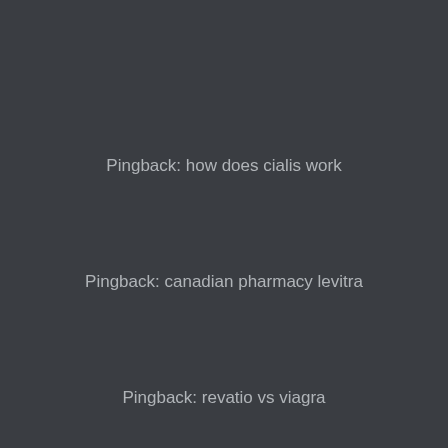Pingback: how does cialis work
Pingback: canadian pharmacy levitra
Pingback: revatio vs viagra
Pingback: does medicare cover tadalafil
Pingback: cialis daily use cost